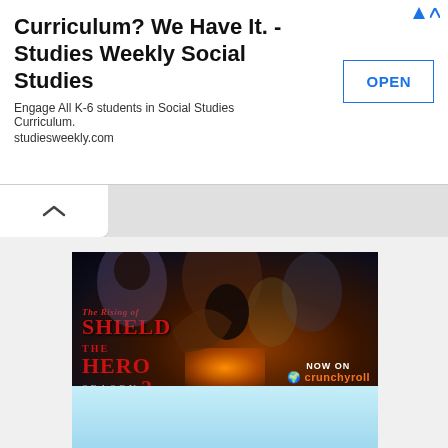[Figure (screenshot): Advertisement banner for Studies Weekly Social Studies with title 'Curriculum? We Have It. - Studies Weekly Social Studies', subtitle 'Engage All K-6 students in Social Studies Curriculum. studiesweekly.com', and an OPEN button]
[Figure (illustration): Advertisement for 'The Rising of the Shield Hero Season 2' anime series, showing anime characters in a dark fantasy battle scene with text 'NOW ON crunchyroll' and 'WATCH NOW' orange button, copyright 2021 AY/K/SS2P]
[Figure (illustration): Bottom portion of another advertisement showing anime characters (appears to be Naruto-related) on a light blue background, partially cropped]